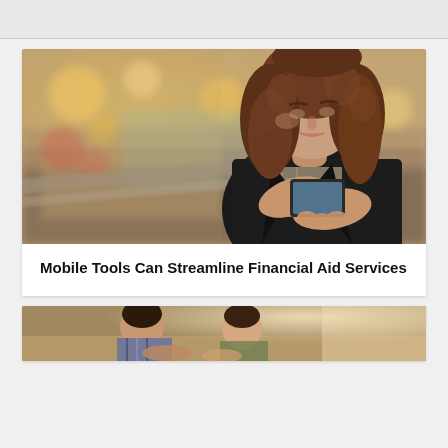[Figure (photo): Woman with curly brown hair looking down at a smartphone, standing in a blurred shopping mall or public space with bokeh lighting in the background, wearing a black leather jacket]
Mobile Tools Can Streamline Financial Aid Services
[Figure (photo): Partial view of people sitting at a table, cropped at bottom of page]